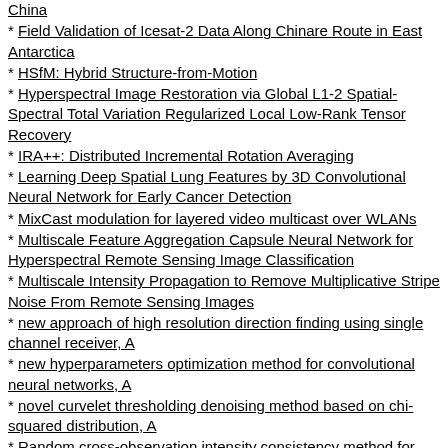China
Field Validation of Icesat-2 Data Along Chinare Route in East Antarctica
HSfM: Hybrid Structure-from-Motion
Hyperspectral Image Restoration via Global L1-2 Spatial-Spectral Total Variation Regularized Local Low-Rank Tensor Recovery
IRA++: Distributed Incremental Rotation Averaging
Learning Deep Spatial Lung Features by 3D Convolutional Neural Network for Early Cancer Detection
MixCast modulation for layered video multicast over WLANs
Multiscale Feature Aggregation Capsule Neural Network for Hyperspectral Remote Sensing Image Classification
Multiscale Intensity Propagation to Remove Multiplicative Stripe Noise From Remote Sensing Images
new approach of high resolution direction finding using single channel receiver, A
new hyperparameters optimization method for convolutional neural networks, A
novel curvelet thresholding denoising method based on chi-squared distribution, A
Random cross-observation intensity consistency method for large-scale SAR images mosaics: An example of Gaofen-3 SAR images covering China
Reconstruction of lines and planes of urban buildings with